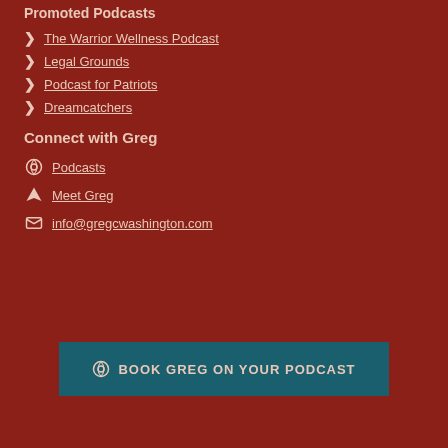Promoted Podcasts
The Warrior Wellness Podcast
Legal Grounds
Podcast for Patriots
Dreamcatchers
Connect with Greg
Podcasts
Meet Greg
info@gregcwashington.com
BOOK GREG ON YOUR PODCAST